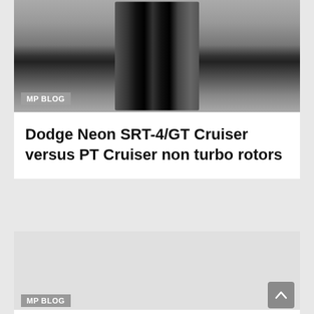[Figure (photo): Close-up black and white photo of a brake rotor/disc showing the rotor surface and vented slots, with a concrete/textured background. Label 'MP BLOG' overlaid in bottom-left corner.]
Dodge Neon SRT-4/GT Cruiser versus PT Cruiser non turbo rotors
[Figure (photo): A second card/thumbnail with a light gray placeholder image area. 'MP BLOG' badge in bottom-left corner and an upward arrow scroll-to-top button in the bottom-right corner.]